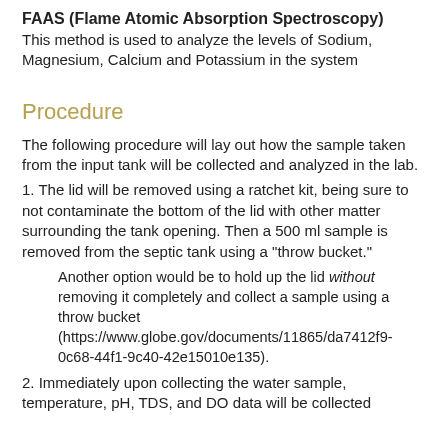FAAS (Flame Atomic Absorption Spectroscopy)
This method is used to analyze the levels of Sodium, Magnesium, Calcium and Potassium in the system
Procedure
The following procedure will lay out how the sample taken from the input tank will be collected and analyzed in the lab.
1. The lid will be removed using a ratchet kit, being sure to not contaminate the bottom of the lid with other matter surrounding the tank opening. Then a 500 ml sample is removed from the septic tank using a "throw bucket."
Another option would be to hold up the lid without removing it completely and collect a sample using a throw bucket (https://www.globe.gov/documents/11865/da7412f9-0c68-44f1-9c40-42e15010e135).
2. Immediately upon collecting the water sample, temperature, pH, TDS, and DO data will be collected